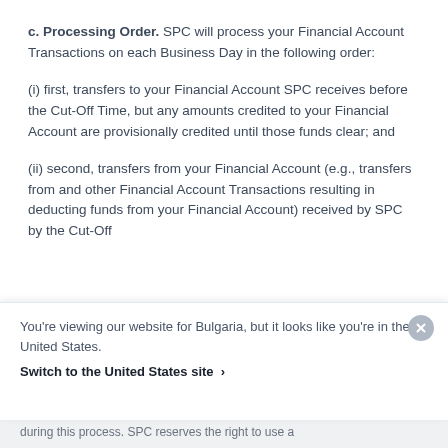c. Processing Order. SPC will process your Financial Account Transactions on each Business Day in the following order:
(i) first, transfers to your Financial Account SPC receives before the Cut-Off Time, but any amounts credited to your Financial Account are provisionally credited until those funds clear; and
(ii) second, transfers from your Financial Account (e.g., transfers from and other Financial Account Transactions resulting in deducting funds from your Financial Account) received by SPC by the Cut-Off
You're viewing our website for Bulgaria, but it looks like you're in the United States.
Switch to the United States site ›
during this process. SPC reserves the right to use a